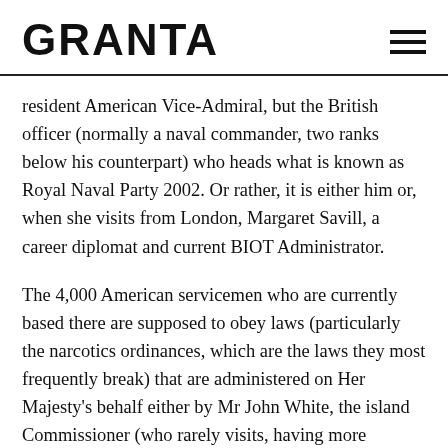GRANTA
resident American Vice-Admiral, but the British officer (normally a naval commander, two ranks below his counterpart) who heads what is known as Royal Naval Party 2002. Or rather, it is either him or, when she visits from London, Margaret Savill, a career diplomat and current BIOT Administrator.
The 4,000 American servicemen who are currently based there are supposed to obey laws (particularly the narcotics ordinances, which are the laws they most frequently break) that are administered on Her Majesty’s behalf either by Mr John White, the island Commissioner (who rarely visits, having more onerous tasks relating to the running of British diplomacy in East Africa which he handles from his desk in London); or by Miss Savill (who does go from time to time,